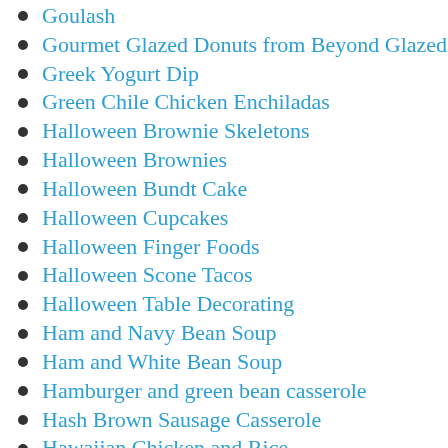Goulash
Gourmet Glazed Donuts from Beyond Glazed
Greek Yogurt Dip
Green Chile Chicken Enchiladas
Halloween Brownie Skeletons
Halloween Brownies
Halloween Bundt Cake
Halloween Cupcakes
Halloween Finger Foods
Halloween Scone Tacos
Halloween Table Decorating
Ham and Navy Bean Soup
Ham and White Bean Soup
Hamburger and green bean casserole
Hash Brown Sausage Casserole
Hawaiian Chicken and Rice
Hawaiian Haystacks